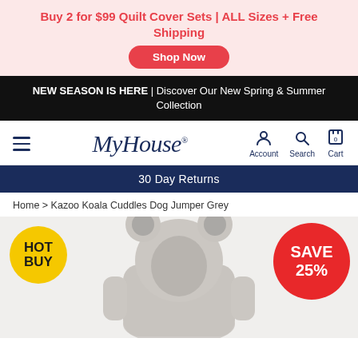Buy 2 for $99 Quilt Cover Sets | ALL Sizes + Free Shipping
Shop Now
NEW SEASON IS HERE | Discover Our New Spring & Summer Collection
MyHouse — Account, Search, Cart
30 Day Returns
Home > Kazoo Koala Cuddles Dog Jumper Grey
[Figure (photo): Grey dog jumper/hoodie product photo with HOT BUY badge and SAVE 25% badge]